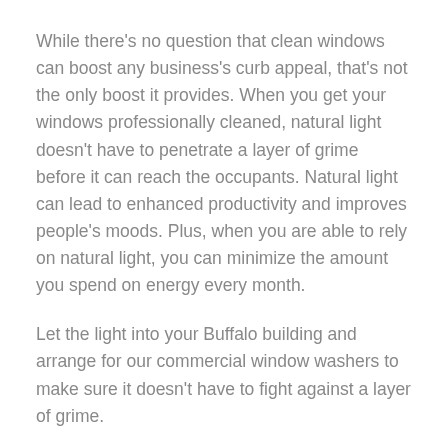While there's no question that clean windows can boost any business's curb appeal, that's not the only boost it provides. When you get your windows professionally cleaned, natural light doesn't have to penetrate a layer of grime before it can reach the occupants. Natural light can lead to enhanced productivity and improves people's moods. Plus, when you are able to rely on natural light, you can minimize the amount you spend on energy every month.
Let the light into your Buffalo building and arrange for our commercial window washers to make sure it doesn't have to fight against a layer of grime.
Contact Us Today